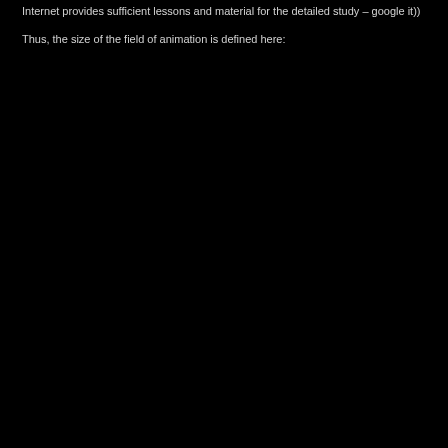Internet provides sufficient lessons and material for the detailed study – google it))
Thus, the size of the field of animation is defined here: